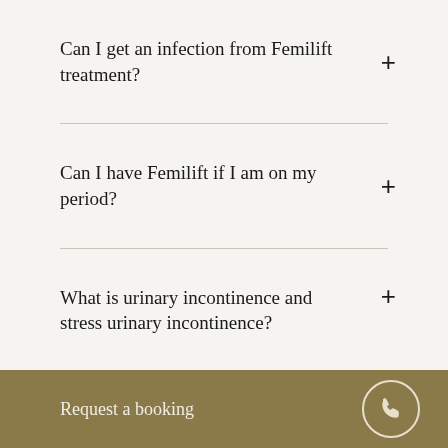Can I get an infection from Femilift treatment?
Can I have Femilift if I am on my period?
What is urinary incontinence and stress urinary incontinence?
Request a booking